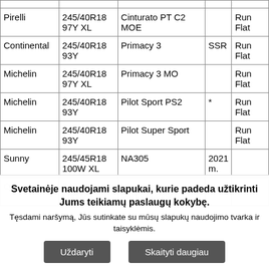| Brand | Size | Model | Mark | Type |
| --- | --- | --- | --- | --- |
| Pirelli | 245/40R18 97Y XL | Cinturato PT C2 MOE |  | Run Flat |
| Continental | 245/40R18 93Y | Primacy 3 | SSR | Run Flat |
| Michelin | 245/40R18 97Y XL | Primacy 3 MO |  | Run Flat |
| Michelin | 245/40R18 93Y | Pilot Sport PS2 | * | Run Flat |
| Michelin | 245/40R18 93Y | Pilot Super Sport |  | Run Flat |
| Sunny | 245/45R18 100W XL | NA305 | 2021 m. |  |
| Orium | 245/45R18 100W XL | Ultra High Performance |  |  |
Svetainėje naudojami slapukai, kurie padeda užtikrinti Jums teikiamų paslaugų kokybę.
Tęsdami naršymą, Jūs sutinkate su mūsų slapukų naudojimo tvarka ir taisyklėmis.